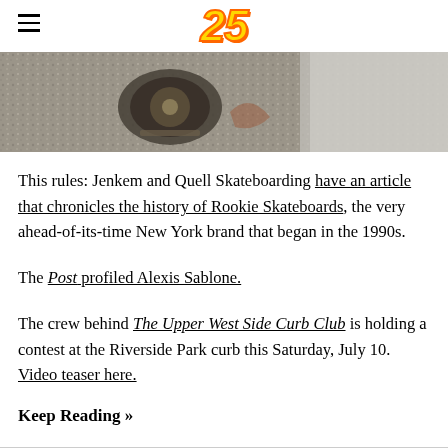25
[Figure (photo): Overhead/ground-level photo of a skateboard wheel and trucks on pavement with a curb or street surface visible]
This rules: Jenkem and Quell Skateboarding have an article that chronicles the history of Rookie Skateboards, the very ahead-of-its-time New York brand that began in the 1990s.
The Post profiled Alexis Sablone.
The crew behind The Upper West Side Curb Club is holding a contest at the Riverside Park curb this Saturday, July 10. Video teaser here.
Keep Reading »